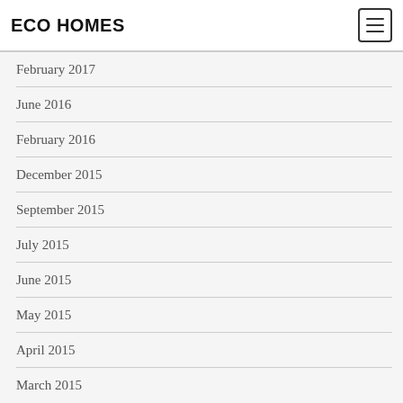ECO HOMES
February 2017
June 2016
February 2016
December 2015
September 2015
July 2015
June 2015
May 2015
April 2015
March 2015